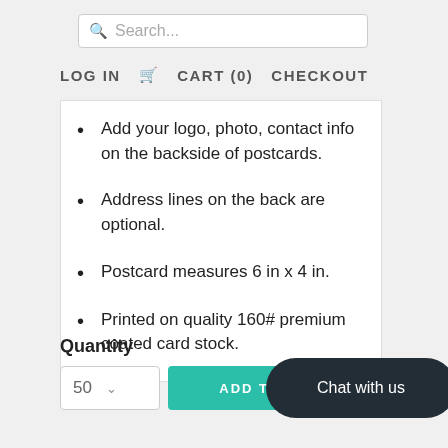[Figure (screenshot): Search bar with placeholder text 'Search...']
LOG IN   CART (0)   CHECKOUT
Add your logo, photo, contact info on the backside of postcards.
Address lines on the back are optional.
Postcard measures 6 in x 4 in.
Printed on quality 160# premium coated card stock.
Quantity
50   ADD TO CART
Chat with us